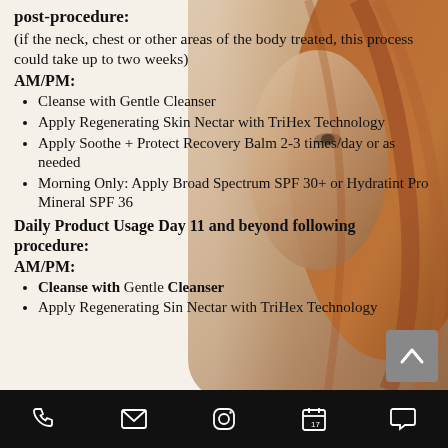post-procedure:
(if the neck, chest or other areas of the body treated, this process could take up to two weeks)
AM/PM:
Cleanse with Gentle Cleanser
Apply Regenerating Skin Nectar with TriHex Technology
Apply Soothe + Protect Recovery Balm 2-3 times/day or as needed
Morning Only: Apply Broad Spectrum SPF 30+ or Hydratint Pro Mineral SPF 36
Daily Product Usage Day 11 and beyond following procedure:
AM/PM:
Cleanse with Gentle Cleanser
Apply Regenerating Sin Nectar with TriHex Technology
[Figure (photo): Background photo of a young woman with long auburn/red hair, face partially visible on right side of page]